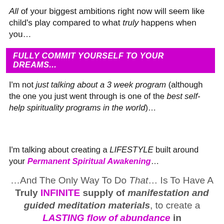All of your biggest ambitions right now will seem like child's play compared to what truly happens when you…
FULLY COMMIT YOURSELF TO YOUR DREAMS...
I'm not just talking about a 3 week program (although the one you just went through is one of the best self-help spirituality programs in the world)…
I'm talking about creating a LIFESTYLE built around your Permanent Spiritual Awakening…
…And The Only Way To Do That… Is To Have A Truly INFINITE supply of manifestation and guided meditation materials, to create a LASTING flow of abundance in EVERY area of your life.